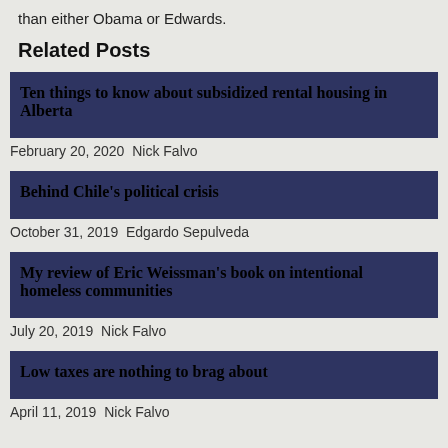than either Obama or Edwards.
Related Posts
Ten things to know about subsidized rental housing in Alberta
February 20, 2020 Nick Falvo
Behind Chile's political crisis
October 31, 2019 Edgardo Sepulveda
My review of Eric Weissman's book on intentional homeless communities
July 20, 2019 Nick Falvo
Low taxes are nothing to brag about
April 11, 2019 Nick Falvo